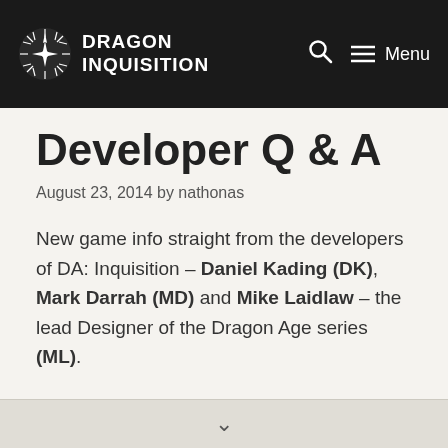DRAGON INQUISITION
Developer Q & A
August 23, 2014 by nathonas
New game info straight from the developers of DA: Inquisition – Daniel Kading (DK), Mark Darrah (MD) and Mike Laidlaw – the lead Designer of the Dragon Age series (ML).